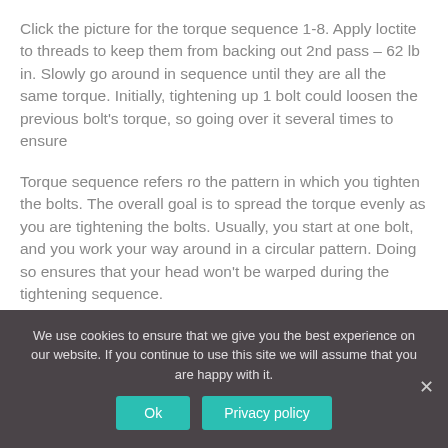Click the picture for the torque sequence 1-8. Apply loctite to threads to keep them from backing out 2nd pass – 62 lb in. Slowly go around in sequence until they are all the same torque. Initially, tightening up 1 bolt could loosen the previous bolt's torque, so going over it several times to ensure
Torque sequence refers ro the pattern in which you tighten the bolts. The overall goal is to spread the torque evenly as you are tightening the bolts. Usually, you start at one bolt, and you work your way around in a circular pattern. Doing so ensures that your head won't be warped during the tightening sequence.
We use cookies to ensure that we give you the best experience on our website. If you continue to use this site we will assume that you are happy with it.